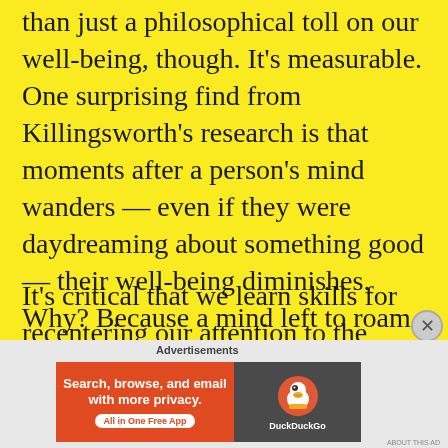than just a philosophical toll on our well-being, though. It's measurable. One surprising find from Killingsworth's research is that moments after a person's mind wanders — even if they were daydreaming about something good — their well-being diminishes. Why? Because a mind left to roam wanders into trouble in the form of rumination or worry.
It's critical that we learn skills for recentering our attention to the moment in front of us
[Figure (screenshot): DuckDuckGo advertisement banner: orange left section with white text 'Search, browse, and email with more privacy. All in One Free App', dark right section with DuckDuckGo duck logo and brand name.]